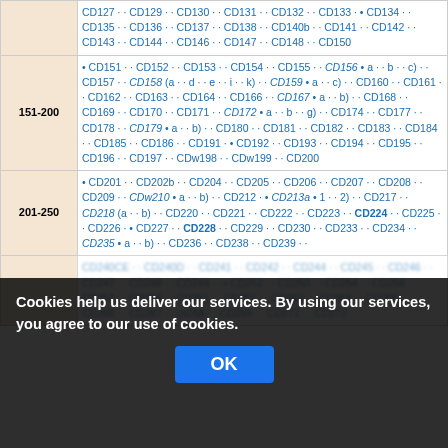| Range | Items |
| --- | --- |
|  | CD127 · · CD129 · · CD130 · · CD131 · · CD132 · · CD133 · • CD134 · · CD135 · · CD136 · · CD137 · · CD138 · · CD140b · · CD141 · · CD142 · · CD143 · · CD144 · · CD146 · · CD147 · · CD148 · · CD150 |
| 151-200 | • CD151 · · CD152 · · CD153 · · CD154 · · CD155 · · CD156 • a · · b · · c) · · CD157 · · CD158 (a · · d · · e · · i · · k) · · CD159 • a · · c) · · CD160 · · CD161 · · CD162 · · CD163 · · CD164 · · CD166 · · CD167 • a · · b) · · CD168 · · CD169 · · CD170 · · CD171 · · CD172 • a · · b · · g) · · CD174 · · CD177 · · CD178 · · CD179 • a · · b) · · CD180 · · CD181 · · CD182 · · CD183 · · CD184 · · CD185 · · CD186 · · CD191 · • CD192 · · CD193 · · CD194 · · CD195 · · CD196 · · CD197 · · CDw198 · · CDw199 · · CD200 |
| 201-250 | • CD201 · · CD202b · · CD204 · · CD205 · · CD206 · · CD207 · · CD208 · · CD209 · · CDw210 • a · · b) · · CD212 · • CD213a • 1 · · 2) · · CD217 · · CD218 (a · · b) · · CD220 · · CD221 · · CD222 · · CD223 · · CD224 · · CD225 · · CD226 · • CD227 · · CD228 · · CD229 · · CD230 · · CD233 · · CD234 · · CD235 • a · · b) · · CD236 · · CD238 · · CD239 · · |
|  | CD240CE · · CD240D · · CD241 · · CD242 · · CD244 · · CD245 · · CD246 · · CD247 · · CD248 · · CD249 · · • CD252 · · CD253 · · CD254 · · CD256 · · CD257 · · CD258 · · CD261 · · CD262 · · CD263 · · CD264 · · CD265 · · CD266 · · CD267 · · cd268 · · CD269 · · CD271 · · CD272 |
Cookies help us deliver our services. By using our services, you agree to our use of cookies.
OK